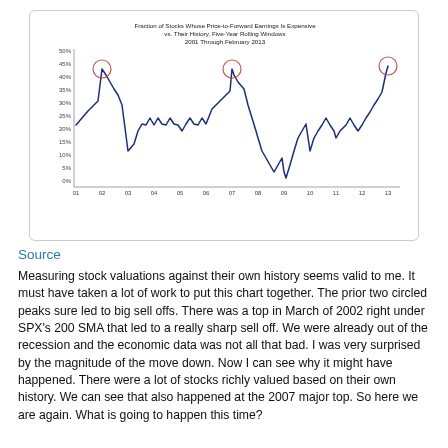[Figure (continuous-plot): A line chart showing the fraction of stocks whose price-to-forward earnings is expensive vs. their history using five-year rolling windows from 2001 through February 2013. The y-axis goes from 0% to 50% in 5% increments. The x-axis shows years 01 through 13. Three peaks are circled: near '02 (~45%), near '07 (~45%), and near '13 (~47%). The line is dark blue and shows significant volatility.]
Source
Measuring stock valuations against their own history seems valid to me.  It must have taken a lot of work to put this chart together.  The prior two circled peaks sure led to big sell offs.  There was a top in March of 2002 right under SPX's 200 SMA that led to a really sharp sell off.  We were already out of the recession and the economic data was not all that bad.  I was very surprised by the magnitude of the move down.  Now I can see why it might have happened.  There were a lot of stocks richly valued based on their own history.  We can see that also happened at the 2007 major top.  So here we are again.  What is going to happen this time?